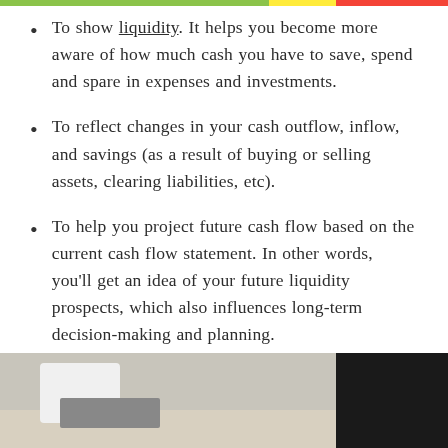To show liquidity. It helps you become more aware of how much cash you have to save, spend and spare in expenses and investments.
To reflect changes in your cash outflow, inflow, and savings (as a result of buying or selling assets, clearing liabilities, etc).
To help you project future cash flow based on the current cash flow statement. In other words, you'll get an idea of your future liquidity prospects, which also influences long-term decision-making and planning.
[Figure (photo): Partial view of a photo showing a desk workspace scene, cropped at the bottom of the page. Light grey and dark background visible.]